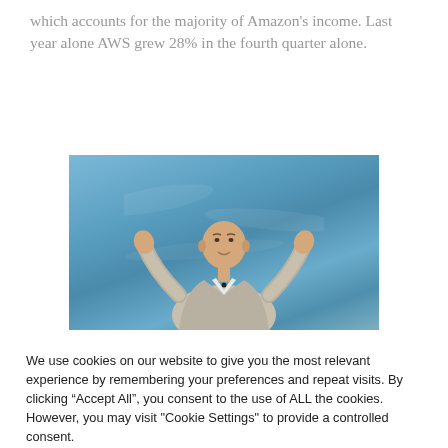which accounts for the majority of Amazon's income. Last year alone AWS grew 28% in the fourth quarter alone.
[Figure (photo): A bald man in a light grey suit speaking on stage with a blue background, gesturing with both hands raised.]
We use cookies on our website to give you the most relevant experience by remembering your preferences and repeat visits. By clicking “Accept All”, you consent to the use of ALL the cookies. However, you may visit "Cookie Settings" to provide a controlled consent.